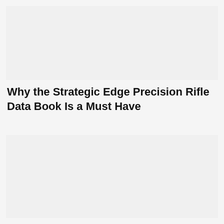[Figure (other): Image placeholder block at top of page]
Why the Strategic Edge Precision Rifle Data Book Is a Must Have
[Figure (other): Image placeholder block at bottom of page]